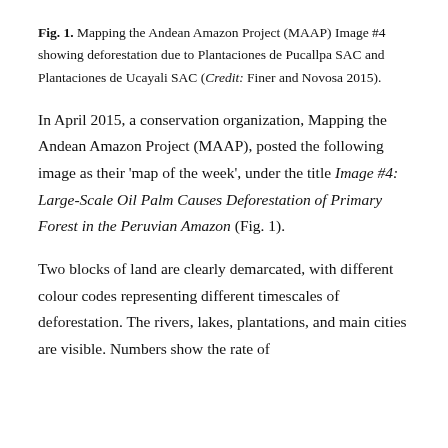Fig. 1. Mapping the Andean Amazon Project (MAAP) Image #4 showing deforestation due to Plantaciones de Pucallpa SAC and Plantaciones de Ucayali SAC (Credit: Finer and Novosa 2015).
In April 2015, a conservation organization, Mapping the Andean Amazon Project (MAAP), posted the following image as their 'map of the week', under the title Image #4: Large-Scale Oil Palm Causes Deforestation of Primary Forest in the Peruvian Amazon (Fig. 1).
Two blocks of land are clearly demarcated, with different colour codes representing different timescales of deforestation. The rivers, lakes, plantations, and main cities are visible. Numbers show the rate of